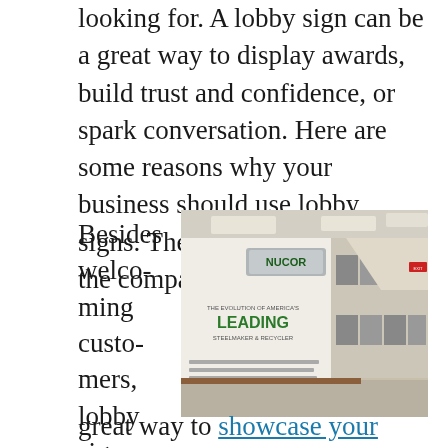looking for. A lobby sign can be a great way to display awards, build trust and confidence, or spark conversation. Here are some reasons why your business should use lobby signs. They can help promote the company and boost sales.
Besides welcoming customers, lobby signs are a
[Figure (photo): Interior photo of a corporate lobby hallway featuring a Nucor branded wall display with the text 'The Evolution of America's Leading Steelmaker & Recycler' along with historical photos and a timeline running along the corridor.]
great way to showcase your unique branding.